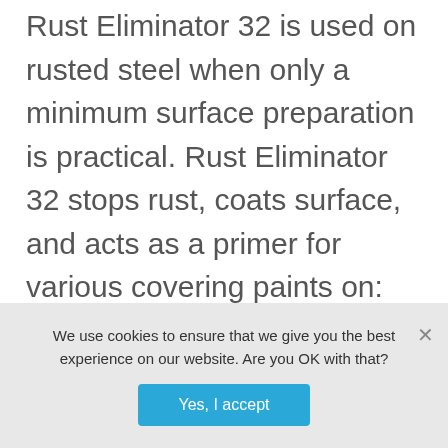Rust Eliminator 32 is used on rusted steel when only a minimum surface preparation is practical. Rust Eliminator 32 stops rust, coats surface, and acts as a primer for various covering paints on: Duct work, overhead cranes and booms Municipal and highway sign posts Conveyors, supports, guard rails, fences Power plants, heating and cooling plants
Continue reading ›
We use cookies to ensure that we give you the best experience on our website. Are you OK with that?
Yes, I accept